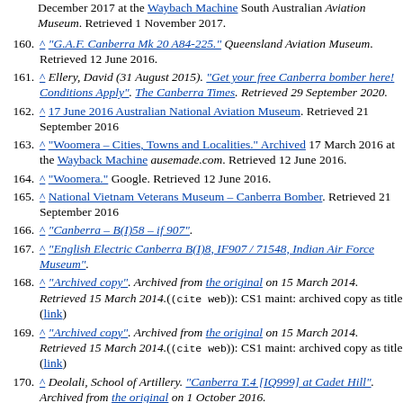(partial) December 2017 at the Waybach Machine South Australian Aviation Museum. Retrieved 1 November 2017.
160. ^ "G.A.F. Canberra Mk 20 A84-225." Queensland Aviation Museum. Retrieved 12 June 2016.
161. ^ Ellery, David (31 August 2015). "Get your free Canberra bomber here! Conditions Apply". The Canberra Times. Retrieved 29 September 2020.
162. ^ 17 June 2016 Australian National Aviation Museum. Retrieved 21 September 2016
163. ^ "Woomera – Cities, Towns and Localities." Archived 17 March 2016 at the Wayback Machine ausemade.com. Retrieved 12 June 2016.
164. ^ "Woomera." Google. Retrieved 12 June 2016.
165. ^ National Vietnam Veterans Museum – Canberra Bomber. Retrieved 21 September 2016
166. ^ "Canberra – B(I)58 – if 907".
167. ^ "English Electric Canberra B(I)8, IF907 / 71548, Indian Air Force Museum".
168. ^ "Archived copy". Archived from the original on 15 March 2014. Retrieved 15 March 2014.((cite web)): CS1 maint: archived copy as title (link)
169. ^ "Archived copy". Archived from the original on 15 March 2014. Retrieved 15 March 2014.((cite web)): CS1 maint: archived copy as title (link)
170. ^ Deolali, School of Artillery. "Canberra T.4 [IQ999] at Cadet Hill". Archived from the original on 1 October 2016.